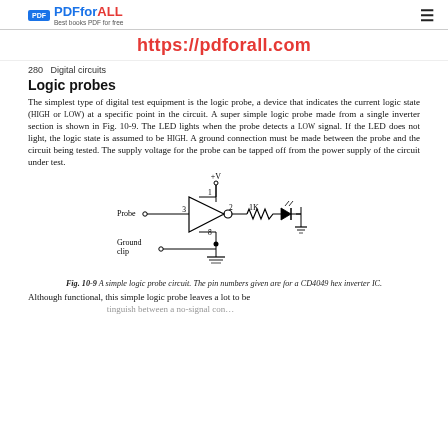PDFforALL Best books PDF for free | https://pdforall.com
280   Digital circuits
Logic probes
The simplest type of digital test equipment is the logic probe, a device that indicates the current logic state (HIGH or LOW) at a specific point in the circuit. A super simple logic probe made from a single inverter section is shown in Fig. 10-9. The LED lights when the probe detects a LOW signal. If the LED does not light, the logic state is assumed to be HIGH. A ground connection must be made between the probe and the circuit being tested. The supply voltage for the probe can be tapped off from the power supply of the circuit under test.
[Figure (circuit-diagram): A simple logic probe circuit with a single inverter (CD4049), resistor 1K, and LED. Probe input connects to pin 3, output pin 2 goes through 1K resistor to LED. Power supply +V connects to pin 1, ground (pin 8) and ground clip shown.]
Fig. 10-9  A simple logic probe circuit. The pin numbers given are for a CD4049 hex inverter IC.
Although functional, this simple logic probe leaves a lot to be ... ...tinguish between a no-signal con...